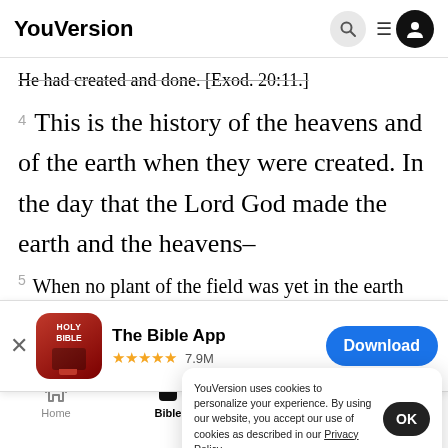YouVersion
He had created and done. [Exod. 20:11.]
4 This is the history of the heavens and of the earth when they were created. In the day that the Lord God made the earth and the heavens–
5 When no plant of the field was yet in the earth
earth a [obscured text]
6 Bu [obscured text]
[Figure (screenshot): App download banner for The Bible App showing app icon (red Holy Bible book), title 'The Bible App', star rating ★★★★★ 7.9M, and a blue Download button]
YouVersion uses cookies to personalize your experience. By using our website, you accept our use of cookies as described in our Privacy Policy.
Home | Bible | Plans | Videos